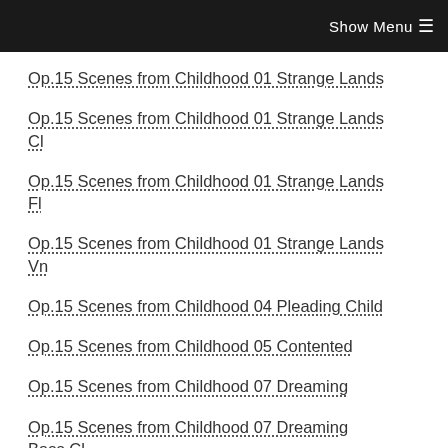Show Menu ☰
Op.15 Scenes from Childhood 01 Strange Lands
Op.15 Scenes from Childhood 01 Strange Lands Cl
Op.15 Scenes from Childhood 01 Strange Lands Fl
Op.15 Scenes from Childhood 01 Strange Lands Vn
Op.15 Scenes from Childhood 04 Pleading Child
Op.15 Scenes from Childhood 05 Contented
Op.15 Scenes from Childhood 07 Dreaming
Op.15 Scenes from Childhood 07 Dreaming Bass Cl